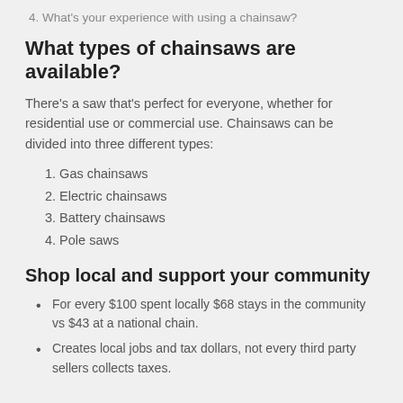4. What's your experience with using a chainsaw?
What types of chainsaws are available?
There's a saw that's perfect for everyone, whether for residential use or commercial use. Chainsaws can be divided into three different types:
1. Gas chainsaws
2. Electric chainsaws
3. Battery chainsaws
4. Pole saws
Shop local and support your community
For every $100 spent locally $68 stays in the community vs $43 at a national chain.
Creates local jobs and tax dollars, not every third party sellers collects taxes.